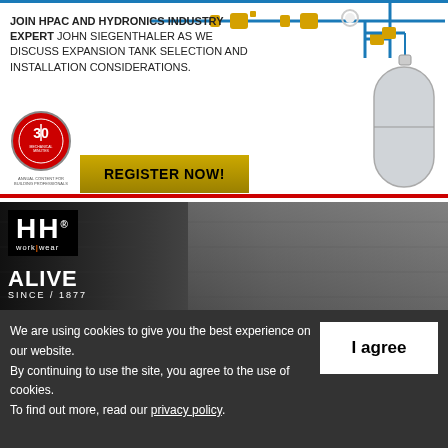[Figure (illustration): HPAC and Hydronics advertisement with piping diagram at top, Mechanical Minutes badge, expansion tank illustration, and REGISTER NOW button. Text reads: JOIN HPAC AND HYDRONICS INDUSTRY EXPERT JOHN SIEGENTHALER AS WE DISCUSS EXPANSION TANK SELECTION AND INSTALLATION CONSIDERATIONS.]
[Figure (photo): Helly Hansen workwear advertisement showing a man in plaid shirt with HH logo and text ALIVE SINCE / 1877]
We are using cookies to give you the best experience on our website. By continuing to use the site, you agree to the use of cookies. To find out more, read our privacy policy.